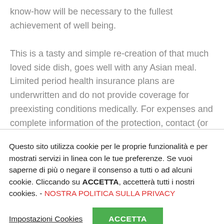know-how will be necessary to the fullest achievement of well being.

This is a tasty and simple re-creation of that much loved side dish, goes well with any Asian meal. Limited period health insurance plans are underwritten and do not provide coverage for preexisting conditions medically. For expenses and complete information of the protection, contact (or even write) your insurance coverage real estate agent or even the organization (whichever is
Questo sito utilizza cookie per le proprie funzionalità e per mostrati servizi in linea con le tue preferenze. Se vuoi saperne di più o negare il consenso a tutti o ad alcuni cookie. Cliccando su ACCETTA, accetterà tutti i nostri cookies. - NOSTRA POLITICA SULLA PRIVACY
Impostazioni Cookies
ACCETTA